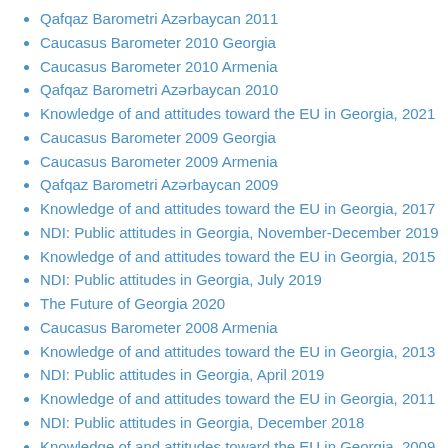Qafqaz Barometri Azərbaycan 2011
Caucasus Barometer 2010 Georgia
Caucasus Barometer 2010 Armenia
Qafqaz Barometri Azərbaycan 2010
Knowledge of and attitudes toward the EU in Georgia, 2021
Caucasus Barometer 2009 Georgia
Caucasus Barometer 2009 Armenia
Qafqaz Barometri Azərbaycan 2009
Knowledge of and attitudes toward the EU in Georgia, 2017
NDI: Public attitudes in Georgia, November-December 2019
Knowledge of and attitudes toward the EU in Georgia, 2015
NDI: Public attitudes in Georgia, July 2019
The Future of Georgia 2020
Caucasus Barometer 2008 Armenia
Knowledge of and attitudes toward the EU in Georgia, 2013
NDI: Public attitudes in Georgia, April 2019
Knowledge of and attitudes toward the EU in Georgia, 2011
NDI: Public attitudes in Georgia, December 2018
Knowledge of and attitudes toward the EU in Georgia, 2009
NDI: Public attitudes in Georgia, June 2018
NDI: Public attitudes in Georgia, March 2018
Women's economic inactivity and engagement in the